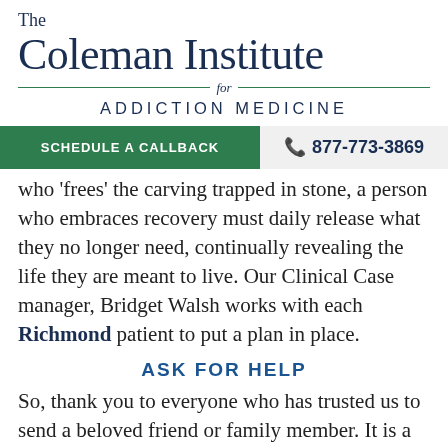The Coleman Institute for ADDICTION MEDICINE
[Figure (other): Navigation bar with green Schedule a Callback button and phone number 877-773-3869]
who 'frees' the carving trapped in stone, a person who embraces recovery must daily release what they no longer need, continually revealing the life they are meant to live. Our Clinical Case manager, Bridget Walsh works with each Richmond patient to put a plan in place.
ASK FOR HELP
So, thank you to everyone who has trusted us to send a beloved friend or family member. It is a great privilege to be a small part of their journey.